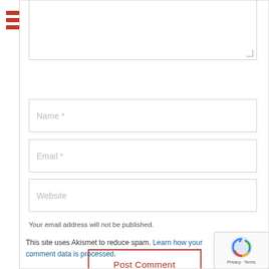[Figure (other): Red hamburger menu icon with three horizontal bars]
Name *
Email *
Website
Your email address will not be published.
Post Comment
This site uses Akismet to reduce spam. Learn how your comment data is processed.
[Figure (other): reCAPTCHA badge with Google logo and Privacy - Terms text]